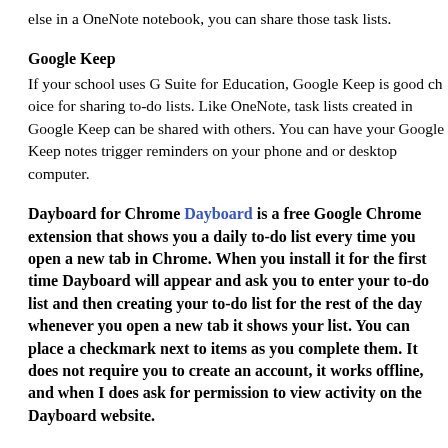else in a OneNote notebook, you can share those task lists.
Google Keep
If your school uses G Suite for Education, Google Keep is good choice for sharing to-do lists. Like OneNote, task lists created in Google Keep can be shared with others. You can have your Google Keep notes trigger reminders on your phone and or desktop computer.
Dayboard for Chrome
Dayboard is a free Google Chrome extension that shows you a daily to-do list every time you open a new tab in Chrome. When you install it for the first time Dayboard will appear and ask you to enter your to-do list and then creating your to-do list for the rest of the day whenever you open a new tab it shows your list. You can place a checkmark next to items as you complete them. It does not require you to create an account, it works offline, and when I does ask for permission to view activity on the Dayboard website.
Any.DO
Any.DO is designed for creating to-do lists and sharing them with colleagues. On Any.DO you can type out a list of tasks or enter tasks using your phone. Once you've entered your task you can assign it to a